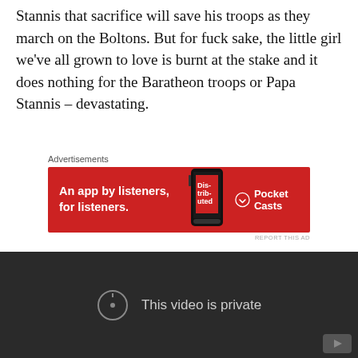Stannis that sacrifice will save his troops as they march on the Boltons. But for fuck sake, the little girl we've all grown to love is burnt at the stake and it does nothing for the Baratheon troops or Papa Stannis – devastating.
[Figure (screenshot): Advertisement banner for Pocket Casts app with red background. Text reads 'An app by listeners, for listeners.' with phone image and Pocket Casts logo.]
[Figure (screenshot): Dark embedded video player showing 'This video is private' message with an exclamation circle icon and YouTube logo in bottom right corner.]